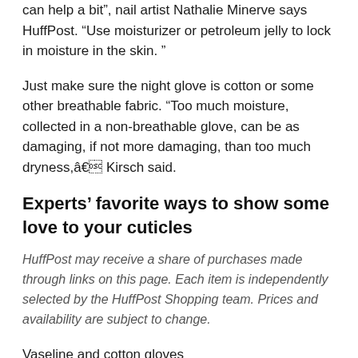can help a bit", nail artist Nathalie Minerve says HuffPost. “Use moisturizer or petroleum jelly to lock in moisture in the skin. ”
Just make sure the night glove is cotton or some other breathable fabric. “Too much moisture, collected in a non-breathable glove, can be as damaging, if not more damaging, than too much dryness,â€ Kirsch said.
Experts’ favorite ways to show some love to your cuticles
HuffPost may receive a share of purchases made through links on this page. Each item is independently selected by the HuffPost Shopping team. Prices and availability are subject to change.
Vaseline and cotton gloves